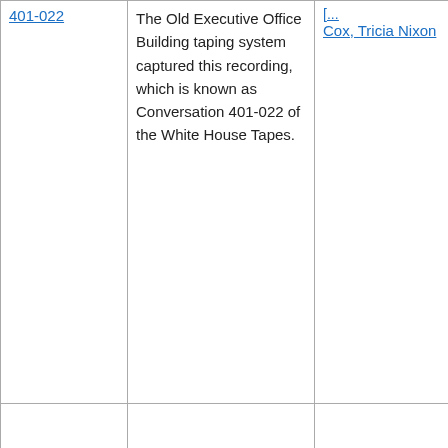| Conversation | Description | Participants |  |
| --- | --- | --- | --- |
| 401-022 | The Old Executive Office Building taping system captured this recording, which is known as Conversation 401-022 of the White House Tapes. | [...], Cox, Tricia Nixon |  |
|  |  |  |  |